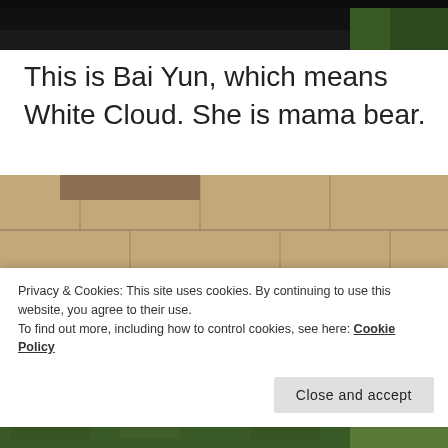[Figure (photo): Partial top photo, dark background, appears to be outdoor/nature scene]
This is Bai Yun, which means White Cloud. She is mama bear.
[Figure (photo): Photo of a giant panda in a zoo enclosure with rocky walls and bamboo/grass, panda visible at bottom right]
Privacy & Cookies: This site uses cookies. By continuing to use this website, you agree to their use.
To find out more, including how to control cookies, see here: Cookie Policy
Close and accept
[Figure (photo): Bottom partial photo, green outdoor scene]